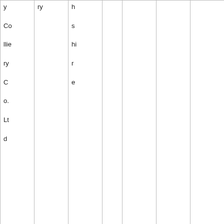| y Colliery Co. Ltd | ry | h s hi r e |  |  |  |  |
| Coed Talon Colliery | N o rt h o p | Fl i n t s hi r e | 1 8 5 8 | BT31 | 359 | 1312 |